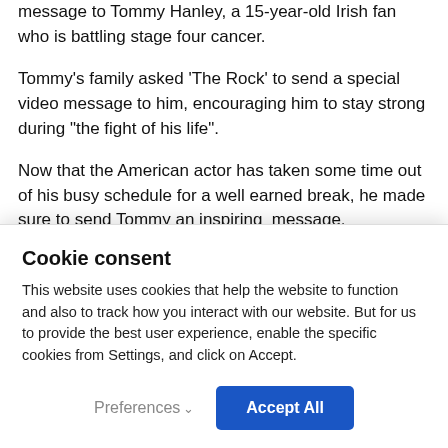Dwayne Johnson has shared an inspiring video message to Tommy Hanley, a 15-year-old Irish fan who is battling stage four cancer.
Tommy’s family asked ‘The Rock’ to send a special video message to him, encouraging him to stay strong during “the fight of his life”.
Now that the American actor has taken some time out of his busy schedule for a well earned break, he made sure to send Tommy an inspiring  message.
He shared a video to his Instagram asking his devoted
Cookie consent
This website uses cookies that help the website to function and also to track how you interact with our website. But for us to provide the best user experience, enable the specific cookies from Settings, and click on Accept.
Preferences∨
Accept All